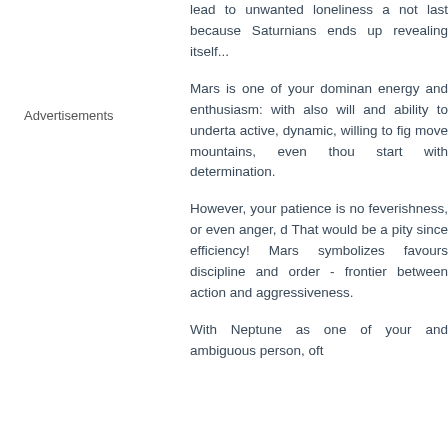lead to unwanted loneliness and not last because Saturnians ends up revealing itself...
Advertisements
Mars is one of your dominant energy and enthusiasm: with also will and ability to undertake active, dynamic, willing to fight move mountains, even though start with determination.
However, your patience is not feverishness, or even anger, d That would be a pity since efficiency! Mars symbolizes favours discipline and order - frontier between action and aggressiveness.
With Neptune as one of your and ambiguous person, oft